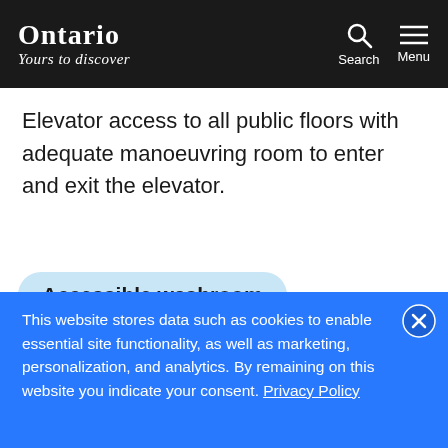ONTARIO Yours to discover
Elevator access to all public floors with adequate manoeuvring room to enter and exit the elevator.
Accessible washroom
An accessible washroom stall has
This website stores data such as cookies to enable essential site functionality, as well as marketing, personalization, and analytics. By remaining on this website you indicate your consent. Privacy Policy